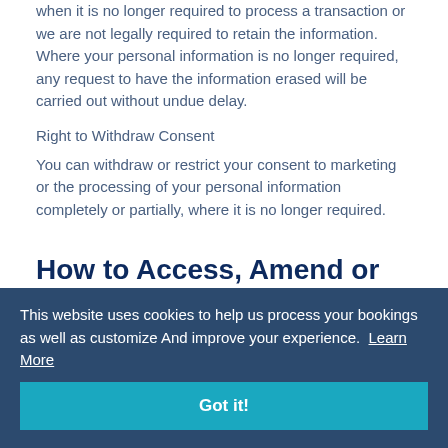when it is no longer required to process a transaction or we are not legally required to retain the information. Where your personal information is no longer required, any request to have the information erased will be carried out without undue delay.
Right to Withdraw Consent
You can withdraw or restrict your consent to marketing or the processing of your personal information completely or partially, where it is no longer required.
How to Access, Amend or Transfer your Information
You can write to us at any time to obtain, amend or request a transfer of any personal information we may hold about you.
This website uses cookies to help us process your bookings as well as customize And improve your experience. Learn More
Got it!